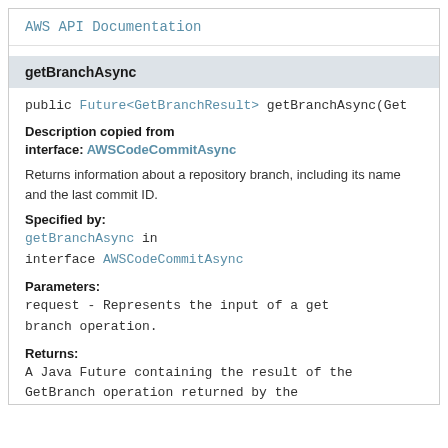AWS API Documentation
getBranchAsync
public Future<GetBranchResult> getBranchAsync(Get
Description copied from interface: AWSCodeCommitAsync
Returns information about a repository branch, including its name and the last commit ID.
Specified by:
getBranchAsync in interface AWSCodeCommitAsync
Parameters:
request - Represents the input of a get branch operation.
Returns:
A Java Future containing the result of the GetBranch operation returned by the